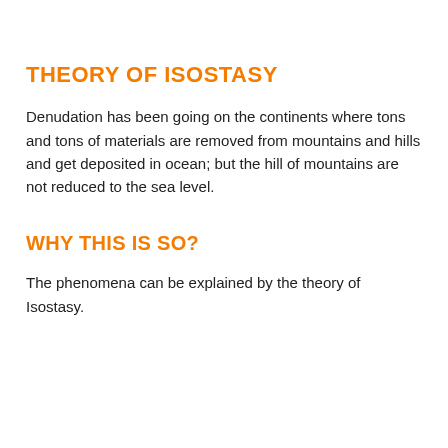THEORY OF ISOSTASY
Denudation has been going on the continents where tons and tons of materials are removed from mountains and hills and get deposited in ocean; but the hill of mountains are not reduced to the sea level.
WHY THIS IS SO?
The phenomena can be explained by the theory of Isostasy.